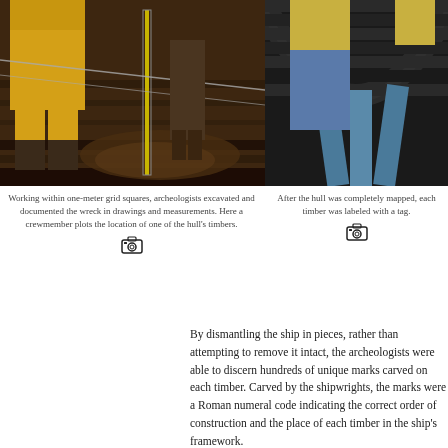[Figure (photo): Archaeologist in yellow rain gear crouching in an excavation site with wooden ship timbers, holding a measuring rod over the hull remains. A rope/wire grid is visible.]
[Figure (photo): Close-up view inside ship hull showing curved wooden ribs/timbers with a person in yellow and blue clothing visible. The timbers show the arc of the ship's frame.]
Working within one-meter grid squares, archeologists excavated and documented the wreck in drawings and measurements. Here a crewmember plots the location of one of the hull's timbers.
After the hull was completely mapped, each timber was labeled with a tag.
By dismantling the ship in pieces, rather than attempting to remove it intact, the archeologists were able to discern hundreds of unique marks carved on each timber. Carved by the shipwrights, the marks were a Roman numeral code indicating the correct order of construction and the place of each timber in the ship's framework.